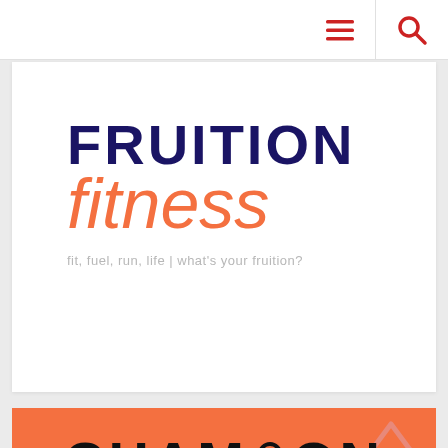[Figure (logo): Navigation bar with hamburger menu icon and search icon on the right side]
[Figure (logo): Fruition Fitness logo with dark blue bold text 'FRUITION' and orange cursive text 'fitness', tagline: 'fit, fuel, run, life | what's your fruition?']
[Figure (logo): Orange card with partial text 'CHAMRION' in bold black letters and a back-to-top chevron arrow in salmon/pink color]